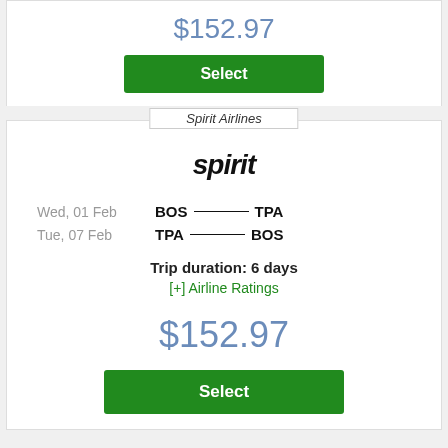$152.97
Select
Spirit Airlines
[Figure (logo): Spirit Airlines italic bold logo text]
Wed, 01 Feb    BOS —— TPA
Tue, 07 Feb    TPA —— BOS
Trip duration: 6 days
[+] Airline Ratings
$152.97
Select